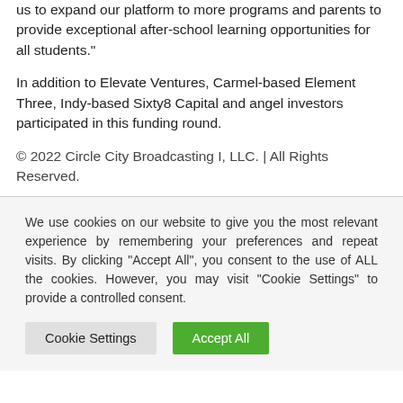us to expand our platform to more programs and parents to provide exceptional after-school learning opportunities for all students."
In addition to Elevate Ventures, Carmel-based Element Three, Indy-based Sixty8 Capital and angel investors participated in this funding round.
© 2022 Circle City Broadcasting I, LLC. | All Rights Reserved.
We use cookies on our website to give you the most relevant experience by remembering your preferences and repeat visits. By clicking "Accept All", you consent to the use of ALL the cookies. However, you may visit "Cookie Settings" to provide a controlled consent.